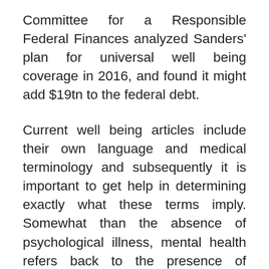Committee for a Responsible Federal Finances analyzed Sanders' plan for universal well being coverage in 2016, and found it might add $19tn to the federal debt.
Current well being articles include their own language and medical terminology and subsequently it is important to get help in determining exactly what these terms imply. Somewhat than the absence of psychological illness, mental health refers back to the presence of constructive characteristics.
You may learn many present well being articles on the web in regards to diseases like cancers, nonetheless, they might not all provde the newest